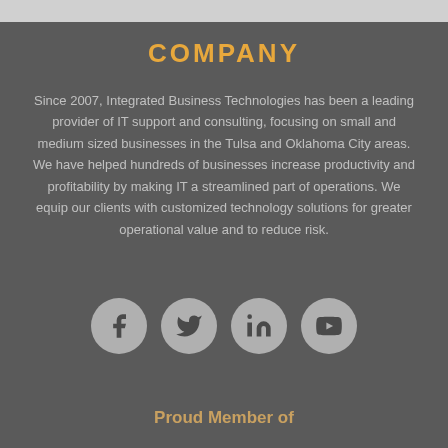COMPANY
Since 2007, Integrated Business Technologies has been a leading provider of IT support and consulting, focusing on small and medium sized businesses in the Tulsa and Oklahoma City areas. We have helped hundreds of businesses increase productivity and profitability by making IT a streamlined part of operations. We equip our clients with customized technology solutions for greater operational value and to reduce risk.
[Figure (infographic): Four social media icon circles: Facebook (f), Twitter (bird), LinkedIn (in), YouTube (You Tube logo)]
Proud Member of